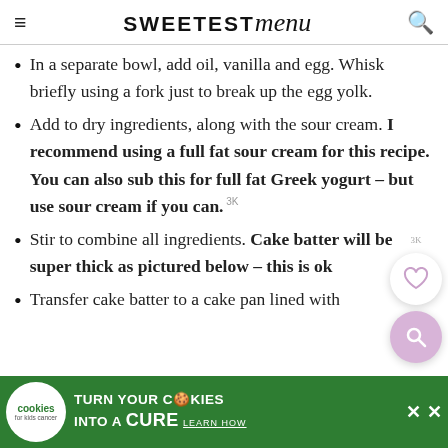SWEETEST menu
In a separate bowl, add oil, vanilla and egg. Whisk briefly using a fork just to break up the egg yolk.
Add to dry ingredients, along with the sour cream. I recommend using a full fat sour cream for this recipe. You can also sub this for full fat Greek yogurt – but use sour cream if you can.
Stir to combine all ingredients. Cake batter will be super thick as pictured below – this is ok
Transfer cake batter to a cake pan lined with b... around 35 min
[Figure (infographic): Advertisement banner: cookies for kids cancer - turn your cookies into a CURE LEARN HOW]